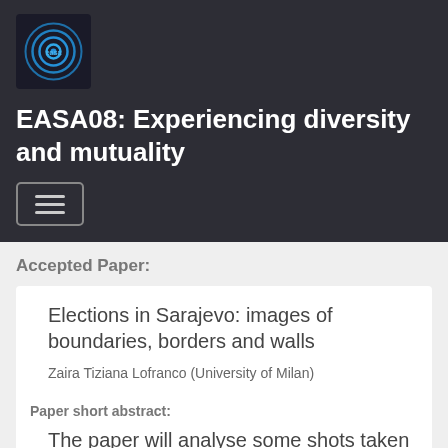[Figure (logo): EASA circular logo with blue concentric circles on dark background]
EASA08: Experiencing diversity and mutuality
[Figure (other): Hamburger menu button with three horizontal lines]
Accepted Paper:
Elections in Sarajevo: images of boundaries, borders and walls
Zaira Tiziana Lofranco (University of Milan)
Paper short abstract:
The paper will analyse some shots taken by the author in the Sarajevo